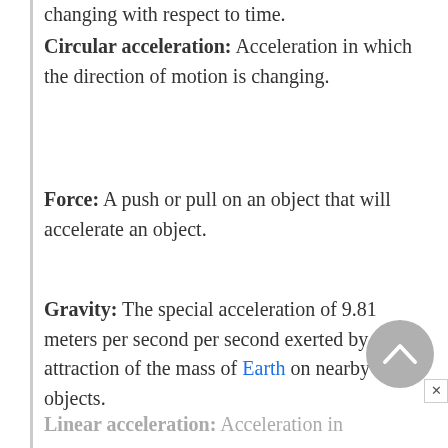changing with respect to time.
Circular acceleration: Acceleration in which the direction of motion is changing.
Force: A push or pull on an object that will accelerate an object.
Gravity: The special acceleration of 9.81 meters per second per second exerted by the attraction of the mass of Earth on nearby objects.
Linear acceleration: Acceleration in